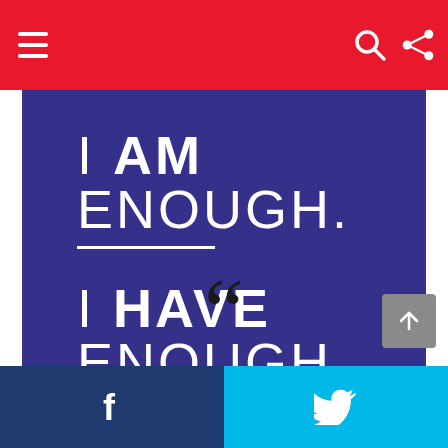Navigation bar with menu, search, and share icons
[Figure (illustration): Purple/indigo background image with white text: 'I AM ENOUGH.' on first line with underline, 'I HAVE ENOUGH.' on second line with underline. Bold emphasis on AM and HAVE.]
““
Facebook and Twitter share buttons